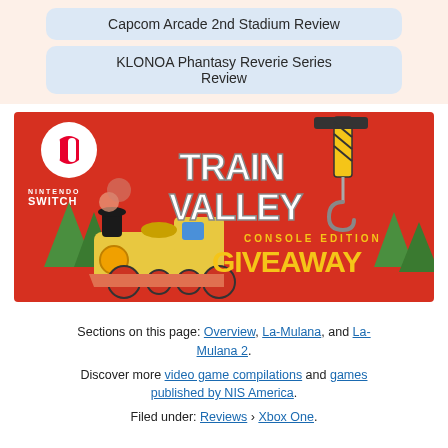Capcom Arcade 2nd Stadium Review
KLONOA Phantasy Reverie Series Review
[Figure (illustration): Train Valley Console Edition Giveaway promotional banner with Nintendo Switch logo, a cartoon steam train, green trees on a red background, and a crane hook graphic.]
Sections on this page: Overview, La-Mulana, and La-Mulana 2.
Discover more video game compilations and games published by NIS America.
Filed under: Reviews › Xbox One.